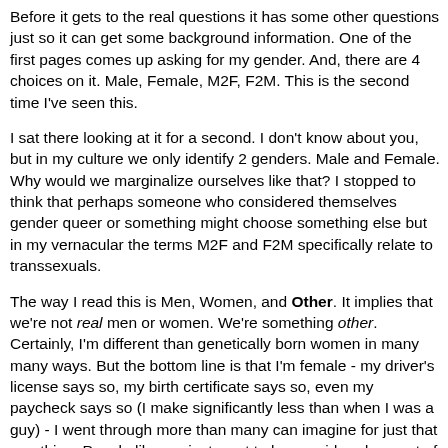Before it gets to the real questions it has some other questions just so it can get some background information. One of the first pages comes up asking for my gender. And, there are 4 choices on it. Male, Female, M2F, F2M. This is the second time I've seen this.
I sat there looking at it for a second. I don't know about you, but in my culture we only identify 2 genders. Male and Female. Why would we marginalize ourselves like that? I stopped to think that perhaps someone who considered themselves gender queer or something might choose something else but in my vernacular the terms M2F and F2M specifically relate to transsexuals.
The way I read this is Men, Women, and Other. It implies that we're not real men or women. We're something other. Certainly, I'm different than genetically born women in many many ways. But the bottom line is that I'm female - my driver's license says so, my birth certificate says so, even my paycheck says so (I make significantly less than when I was a guy) - I went through more than many can imagine for just that one thing. People like me just want to be considered as part of our authentic gender. I think the fact that these questions are here like this is a reflection of the mindset of many people - that we're not real. Each of us needs to stop